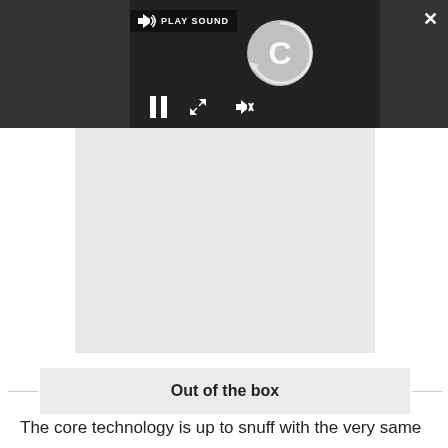[Figure (screenshot): Video player interface with dark background showing a loading spinner (circular arrow with letter C), play sound tooltip, pause button (two vertical bars), mute/speaker button, close (X) button top right, and expand arrows button. Below is a gray content area placeholder.]
Out of the box
The core technology is up to snuff with the very same